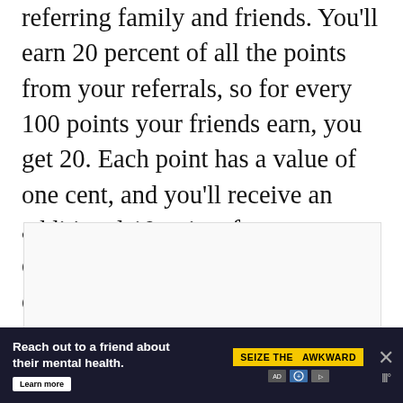referring family and friends. You'll earn 20 percent of all the points from your referrals, so for every 100 points your friends earn, you get 20. Each point has a value of one cent, and you'll receive an additional 10 points for completing your profile, so you can quickly start to accumulate PayPal money.
[Figure (other): Empty advertisement placeholder box with light gray background and thin border]
[Figure (screenshot): Dark navy advertisement banner: 'Reach out to a friend about their mental health. Learn more' with 'SEIZE THE AWKWARD' yellow badge, small media icons, and close button on dark background]